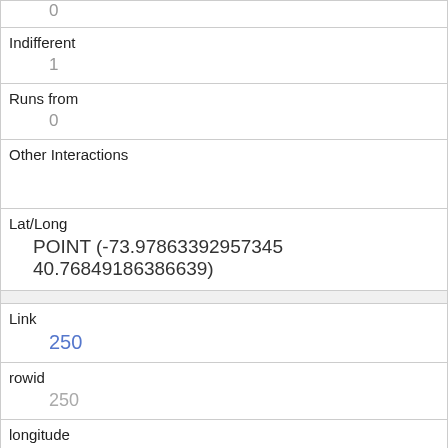| 0 |
| Indifferent | 1 |
| Runs from | 0 |
| Other Interactions |  |
| Lat/Long | POINT (-73.97863392957345 40.76849186386639) |
| Link | 250 |
| rowid | 250 |
| longitude | -73.97267476660019 |
| latitude | 40.77030226693079 |
| Unique Squirrel ID | 7F-AM-1008-02 |
| Hectare |  |